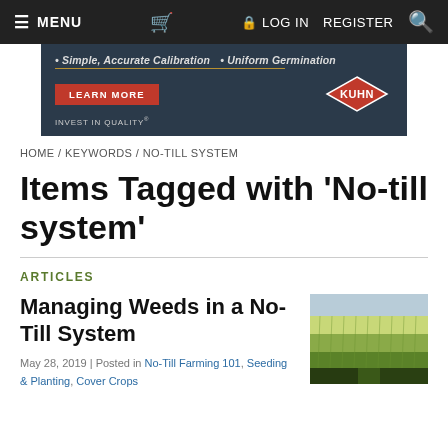MENU  [cart]  LOG IN  REGISTER  [search]
[Figure (screenshot): Kuhn advertisement banner: 'Simple, Accurate Calibration  Uniform Germination' with 'LEARN MORE' red button and Kuhn red diamond logo. 'INVEST IN QUALITY' at bottom.]
HOME / KEYWORDS / NO-TILL SYSTEM
Items Tagged with 'No-till system'
ARTICLES
Managing Weeds in a No-Till System
May 28, 2019 | Posted in No-Till Farming 101, Seeding & Planting, Cover Crops